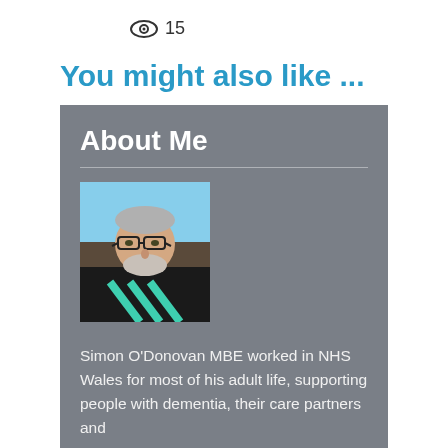15
You might also like ...
About Me
[Figure (photo): Portrait photo of Simon O'Donovan MBE, a middle-aged man with a grey beard and glasses, wearing a black t-shirt with colourful design, against a blue sky background.]
Simon O'Donovan MBE worked in NHS Wales for most of his adult life, supporting people with dementia, their care partners and